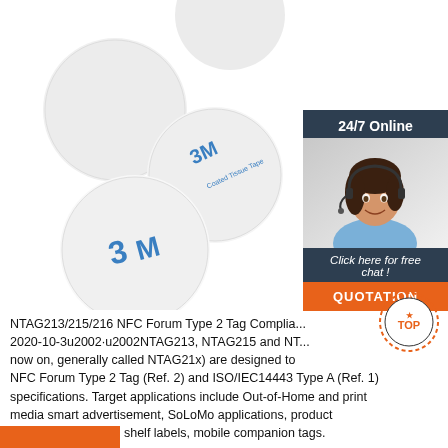[Figure (photo): Multiple round white NFC disc tags/stickers with 3M adhesive tape backing, shown from above on a white background. Some show the 3M logo and 'Coated Tissue Tape' text.]
[Figure (photo): Sidebar with dark navy background showing '24/7 Online' text, a photo of a smiling female customer service agent wearing a headset, 'Click here for free chat!' text in italic, and an orange QUOTATION button.]
NTAG213/215/216 NFC Forum Type 2 Tag Complia... 2020-10-3u2002·u2002NTAG213, NTAG215 and NT... now on, generally called NTAG21x) are designed to NFC Forum Type 2 Tag (Ref. 2) and ISO/IEC14443 Type A (Ref. 1) specifications. Target applications include Out-of-Home and print media smart advertisement, SoLoMo applications, product authentication, NFC shelf labels, mobile companion tags.
[Figure (logo): Orange and black 'TOP' badge/seal with dotted border circle]
[Figure (other): Orange horizontal strip at bottom left]